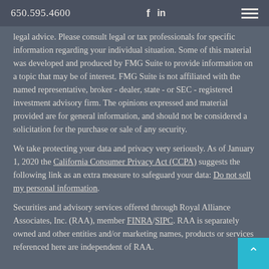650.595.4600
legal advice. Please consult legal or tax professionals for specific information regarding your individual situation. Some of this material was developed and produced by FMG Suite to provide information on a topic that may be of interest. FMG Suite is not affiliated with the named representative, broker - dealer, state - or SEC - registered investment advisory firm. The opinions expressed and material provided are for general information, and should not be considered a solicitation for the purchase or sale of any security.
We take protecting your data and privacy very seriously. As of January 1, 2020 the California Consumer Privacy Act (CCPA) suggests the following link as an extra measure to safeguard your data: Do not sell my personal information.
Securities and advisory services offered through Royal Alliance Associates, Inc. (RAA), member FINRA/SIPC. RAA is separately owned and other entities and/or marketing names, products or services referenced here are independent of RAA.